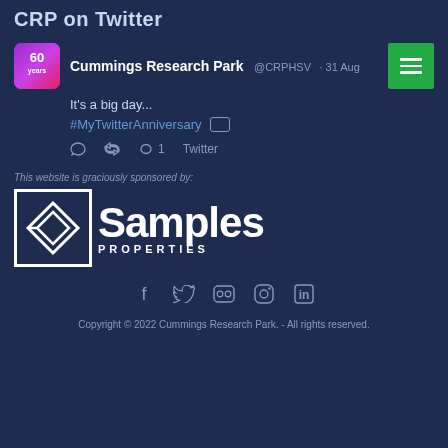CRP on Twitter
[Figure (screenshot): Embedded tweet from Cummings Research Park (@CRPHSV) dated 31 Aug, with tweet text 'It's a big day... #MyTwitterAnniversary', like count 1, and Twitter link. Includes avatar with 60 years logo and green hamburger menu overlay.]
This website is graciously sponsored by:
[Figure (logo): Samples Properties logo - white diamond/arrow icon in a square border, with 'Samples' in large bold text and 'PROPERTIES' in smaller spaced caps.]
[Figure (infographic): Social media icons row: Facebook, Twitter, Flickr, Instagram, LinkedIn]
Copyright © 2022 Cummings Research Park. - All rights reserved.